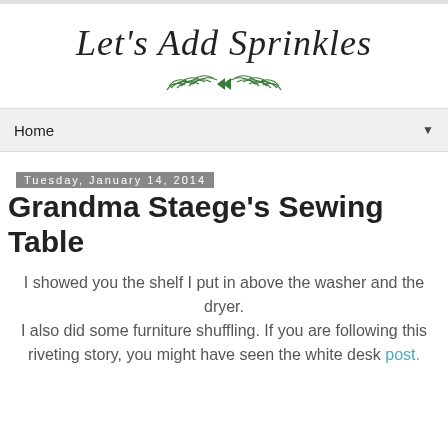Let's Add Sprinkles
Home
Tuesday, January 14, 2014
Grandma Staege's Sewing Table
I showed you the shelf I put in above the washer and the dryer.
I also did some furniture shuffling. If you are following this riveting story, you might have seen the white desk post.